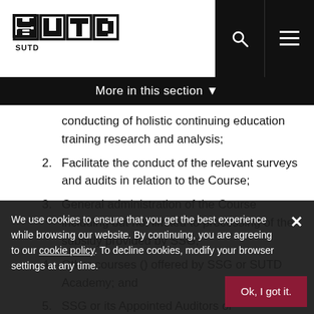[Figure (logo): SUTD logo in black and white geometric style]
More in this section ▾
conducting of holistic continuing education training research and analysis;
2. Facilitate the conduct of the relevant surveys and audits in relation to the Course;
3. General administration of the Course including but not limited to processing of the subsidy provided by SSG;
4. Other courses (…) offered by SSG or SUTD Academy; and
5. SSG or its Appointed Auditors or
We use cookies to ensure that you get the best experience while browsing our website. By continuing, you are agreeing to our cookie policy. To decline cookies, modify your browser settings at any time.